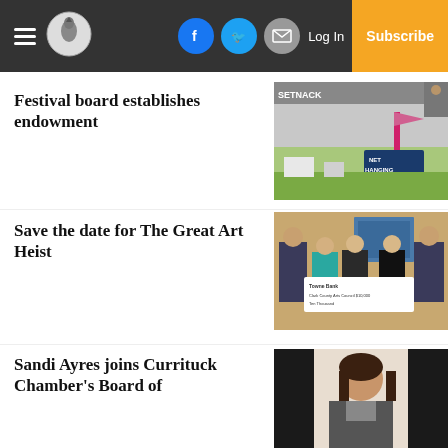Navigation bar with hamburger menu, logo, social icons (Facebook, Twitter, Email), Log In, and Subscribe button
Festival board establishes endowment
[Figure (photo): Outdoor festival scene with a truck trailer, a blue NET HANGING sign, and colorful items in background]
Save the date for The Great Art Heist
[Figure (photo): Group of four people in formal attire holding a large ceremonial check from Towne Bank to Clark County Arts Council for Ten Thousand dollars]
Sandi Ayres joins Currituck Chamber's Board of
[Figure (photo): Portrait photo of a woman with dark hair, against a light background]